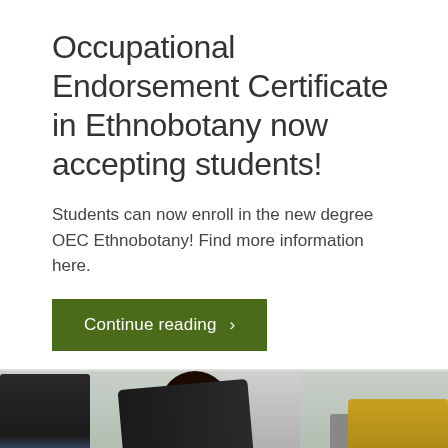Occupational Endorsement Certificate in Ethnobotany now accepting students!
Students can now enroll in the new degree OEC Ethnobotany! Find more information here.
Continue reading >
[Figure (photo): Outdoor group photo showing students and instructor engaged in field work. A woman with dark hair is bent over examining plants, people in dark jackets and jeans are visible, one person on right wears yellow, outdoor vegetation and overcast sky in background.]